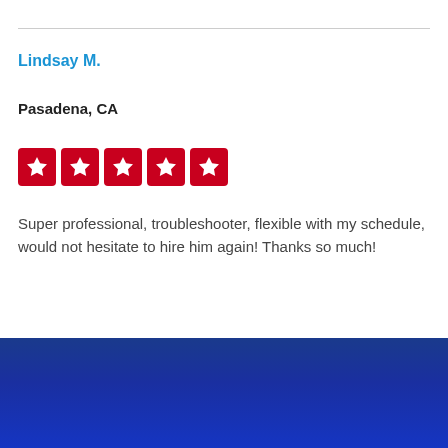Lindsay M.
Pasadena, CA
[Figure (other): Five red star rating boxes with white stars]
Super professional, troubleshooter, flexible with my schedule, would not hesitate to hire him again! Thanks so much!